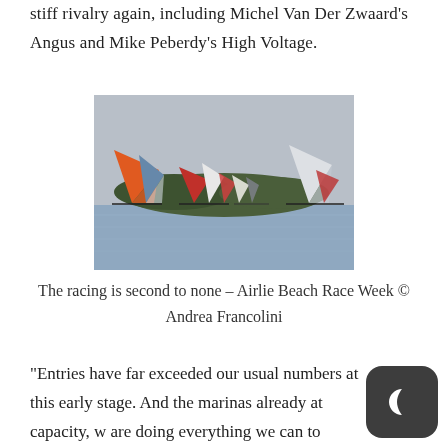stiff rivalry again, including Michel Van Der Zwaard's Angus and Mike Peberdy's High Voltage.
[Figure (photo): Sailing boats with colourful spinnakers racing on open water, tree-covered headland in background. Airlie Beach Race Week.]
The racing is second to none – Airlie Beach Race Week © Andrea Francolini
“Entries have far exceeded our usual numbers at this early stage. And the marinas already at capacity, w are doing everything we can to